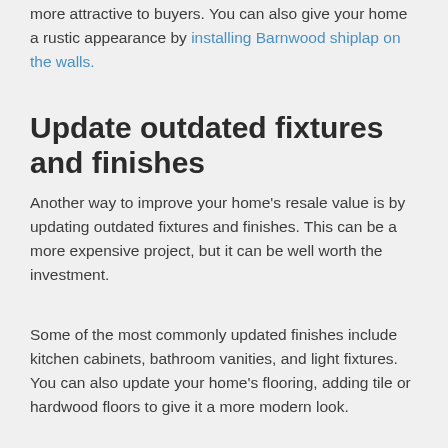more attractive to buyers. You can also give your home a rustic appearance by installing Barnwood shiplap on the walls.
Update outdated fixtures and finishes
Another way to improve your home's resale value is by updating outdated fixtures and finishes. This can be a more expensive project, but it can be well worth the investment.
Some of the most commonly updated finishes include kitchen cabinets, bathroom vanities, and light fixtures. You can also update your home's flooring, adding tile or hardwood floors to give it a more modern look.